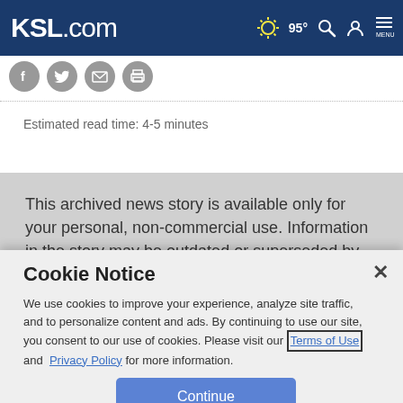KSL.com  95°  [search] [account] MENU
[Figure (screenshot): Social share icons: Facebook, Twitter, Email, Print]
Estimated read time: 4-5 minutes
This archived news story is available only for your personal, non-commercial use. Information in the story may be outdated or superseded by additional
Cookie Notice
We use cookies to improve your experience, analyze site traffic, and to personalize content and ads. By continuing to use our site, you consent to our use of cookies. Please visit our Terms of Use and  Privacy Policy for more information.
Continue